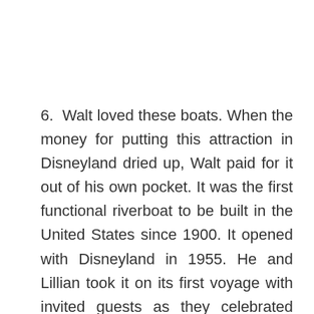6.  Walt loved these boats. When the money for putting this attraction in Disneyland dried up, Walt paid for it out of his own pocket. It was the first functional riverboat to be built in the United States since 1900. It opened with Disneyland in 1955. He and Lillian took it on its first voyage with invited guests as they celebrated their 30th wedding anniversary. It is easy to fall in love with this riverboat experience, just as Walt Disney himself.